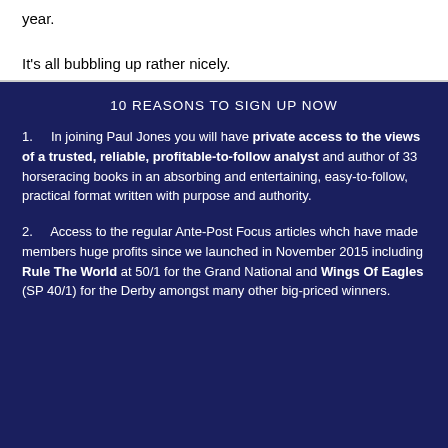year.

It's all bubbling up rather nicely.
10 REASONS TO SIGN UP NOW
1.   In joining Paul Jones you will have private access to the views of a trusted, reliable, profitable-to-follow analyst and author of 33 horseracing books in an absorbing and entertaining, easy-to-follow, practical format written with purpose and authority.
2.   Access to the regular Ante-Post Focus articles whch have made members huge profits since we launched in November 2015 including Rule The World at 50/1 for the Grand National and Wings Of Eagles (SP 40/1) for the Derby amongst many other big-priced winners.